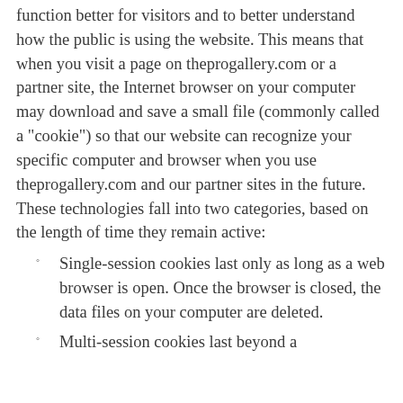function better for visitors and to better understand how the public is using the website. This means that when you visit a page on theprogallery.com or a partner site, the Internet browser on your computer may download and save a small file (commonly called a "cookie") so that our website can recognize your specific computer and browser when you use theprogallery.com and our partner sites in the future. These technologies fall into two categories, based on the length of time they remain active:
Single-session cookies last only as long as a web browser is open. Once the browser is closed, the data files on your computer are deleted.
Multi-session cookies last beyond a